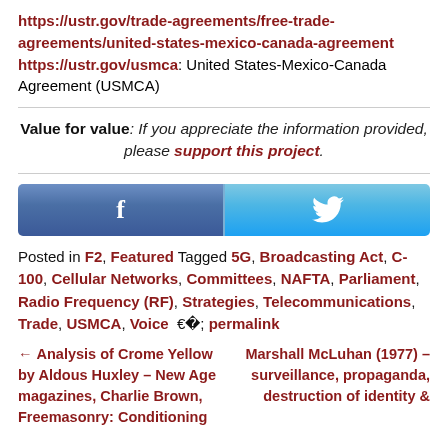https://ustr.gov/trade-agreements/free-trade-agreements/united-states-mexico-canada-agreement https://ustr.gov/usmca: United States-Mexico-Canada Agreement (USMCA)
Value for value: If you appreciate the information provided, please support this project.
[Figure (other): Social sharing bar with Facebook and Twitter buttons]
Posted in F2, Featured Tagged 5G, Broadcasting Act, C-100, Cellular Networks, Committees, NAFTA, Parliament, Radio Frequency (RF), Strategies, Telecommunications, Trade, USMCA, Voice permalink
← Analysis of Crome Yellow by Aldous Huxley – New Age magazines, Charlie Brown, Freemasonry: Conditioning
Marshall McLuhan (1977) – surveillance, propaganda, destruction of identity & privacy